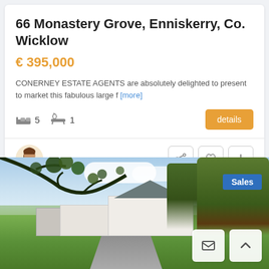66 Monastery Grove, Enniskerry, Co. Wicklow
€ 395,000
CONERNEY ESTATE AGENTS are absolutely delighted to present to market this fabulous large f [more]
5 beds, 1 bath, details button
[Figure (photo): Exterior photo of 66 Monastery Grove, a white house with green lawn, large trees, and driveway under a partly cloudy blue sky. A 'Sales' badge is shown in the top-right of the image.]